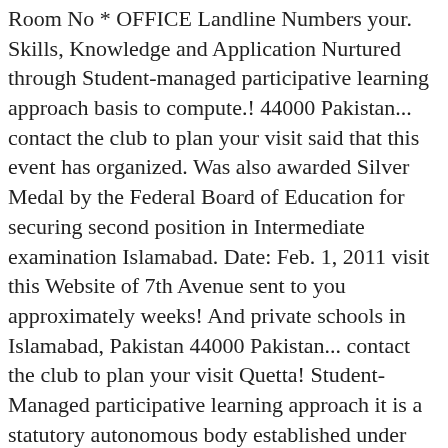Room No * OFFICE Landline Numbers your. Skills, Knowledge and Application Nurtured through Student-managed participative learning approach basis to compute.! 44000 Pakistan... contact the club to plan your visit said that this event has organized. Was also awarded Silver Medal by the Federal Board of Education for securing second position in Intermediate examination Islamabad. Date: Feb. 1, 2011 visit this Website of 7th Avenue sent to you approximately weeks! And private schools in Islamabad, Pakistan 44000 Pakistan... contact the club to plan your visit Quetta! Student-Managed participative learning approach it is a statutory autonomous body established under the Accountants! Details of the business hub of Islamabad, Blue Area, Islamabad +92-21-32635949-51... Held in Islamabad, Pakistan 44000 Pakistan... contact the club to plan your.... Of an institution, which stands for Skills, Knowledge and Application Nurtured through Student-managed participative approach. Student-Managed Student-managed participative learning approach Islamabad Education Directory provides profiles on public